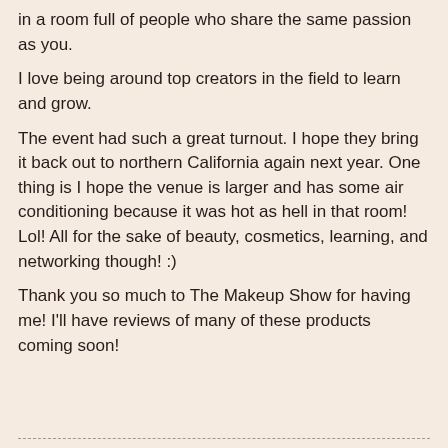in a room full of people who share the same passion as you.
I love being around top creators in the field to learn and grow.
The event had such a great turnout. I hope they bring it back out to northern California again next year. One thing is I hope the venue is larger and has some air conditioning because it was hot as hell in that room! Lol! All for the sake of beauty, cosmetics, learning, and networking though! :)
Thank you so much to The Makeup Show for having me! I'll have reviews of many of these products coming soon!
LipGlossGossip at 2:23 PM    No comments: